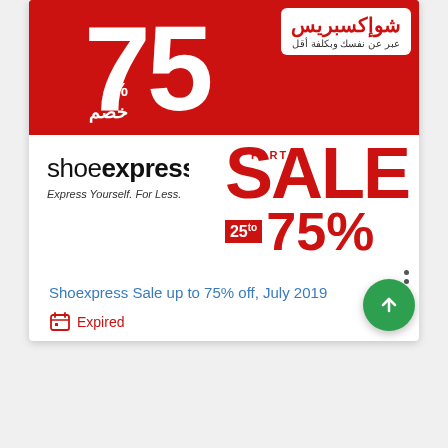[Figure (illustration): Shoexpress advertisement banner showing 75% off sale in Arabic script on red background (top), and English Shoexpress logo with PART SALE 25 to 75% text on white background (bottom)]
Shoexpress Sale up to 75% off, July 2019
Expired